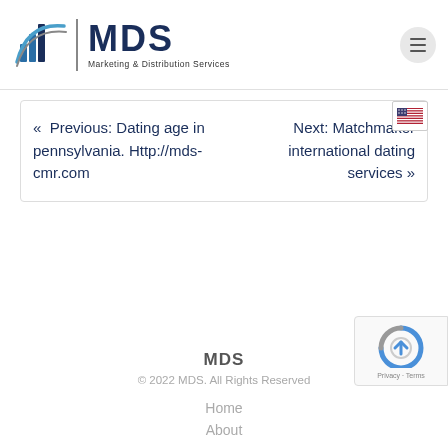[Figure (logo): MDS Marketing & Distribution Services logo with bar chart icon and swoosh]
« Previous: Dating age in pennsylvania. Http://mds-cmr.com
Next: Matchmaker international dating services »
MDS
© 2022 MDS. All Rights Reserved
Home
About